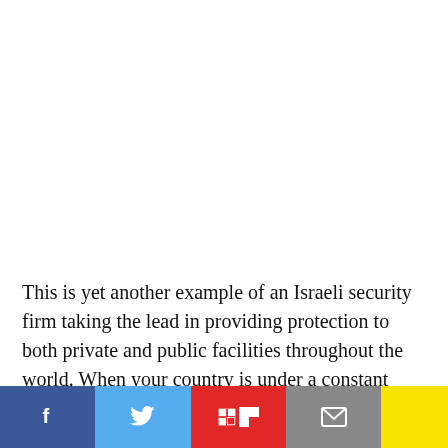This is yet another example of an Israeli security firm taking the lead in providing protection to both private and public facilities throughout the world. When your country is under a constant threat of attack by terrorists it tends to facilitate progress in defense and security technologies.
[Figure (other): Social media sharing bar with Facebook, Twitter, Flipboard, Email, and a yellow button]